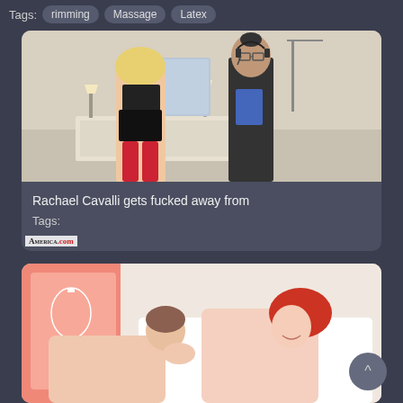Tags: rimming  Massage  Latex
[Figure (photo): Video thumbnail showing a blonde woman in black lingerie and red stockings standing by a dresser with a mirror, and a man in a black shirt wearing a headset holding a blue folder. Watermark reads AMERICA.com in bottom left.]
Rachael Cavalli gets fucked away from
Tags:
[Figure (photo): Video thumbnail showing two women on a bed with pink wall and frame in background, one with red hair smiling, the other with brown hair.]